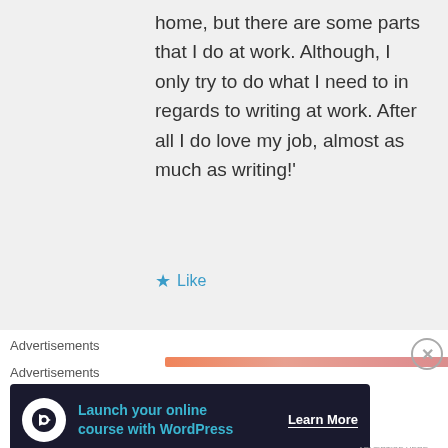home, but there are some parts that I do at work. Although, I only try to do what I need to in regards to writing at work. After all I do love my job, almost as much as writing!'
Like
Advertisements
Advertisements
[Figure (infographic): Advertisement banner: Launch your online course with WordPress. Learn More button. Dark navy background with teal text and white circular icon.]